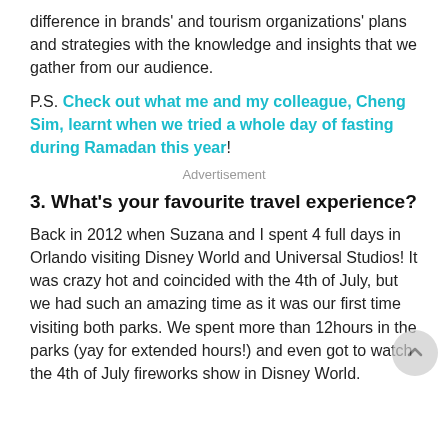difference in brands' and tourism organizations' plans and strategies with the knowledge and insights that we gather from our audience.
P.S. Check out what me and my colleague, Cheng Sim, learnt when we tried a whole day of fasting during Ramadan this year!
Advertisement
3. What's your favourite travel experience?
Back in 2012 when Suzana and I spent 4 full days in Orlando visiting Disney World and Universal Studios! It was crazy hot and coincided with the 4th of July, but we had such an amazing time as it was our first time visiting both parks. We spent more than 12hours in the parks (yay for extended hours!) and even got to watch the 4th of July fireworks show in Disney World.